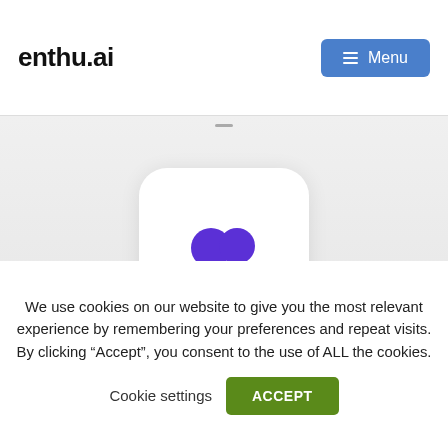enthu.ai  Menu
[Figure (screenshot): App icon with purple dp logo on light gray background]
We use cookies on our website to give you the most relevant experience by remembering your preferences and repeat visits. By clicking “Accept”, you consent to the use of ALL the cookies.
Cookie settings  ACCEPT